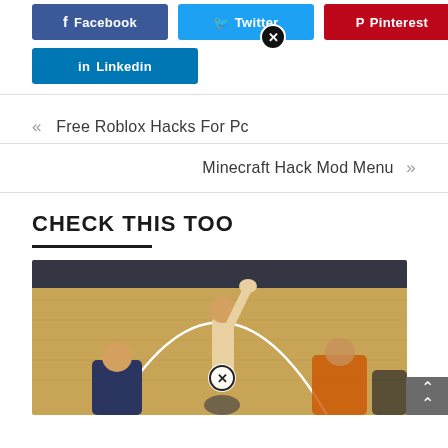[Figure (screenshot): Social share buttons: Facebook, Twitter (with close X overlay), Pinterest, and LinkedIn]
« Free Roblox Hacks For Pc
Minecraft Hack Mod Menu »
CHECK THIS TOO
[Figure (photo): Basketball game photo showing players on an indoor court with wooden floor, a player raising hand, with a close X overlay button]